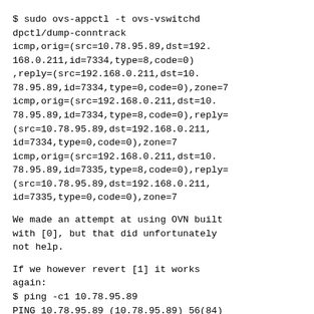$ sudo ovs-appctl -t ovs-vswitchd dpctl/dump-conntrack
icmp,orig=(src=10.78.95.89,dst=192.168.0.211,id=7334,type=8,code=0),reply=(src=192.168.0.211,dst=10.78.95.89,id=7334,type=0,code=0),zone=7
icmp,orig=(src=192.168.0.211,dst=10.78.95.89,id=7334,type=8,code=0),reply=(src=10.78.95.89,dst=192.168.0.211,id=7334,type=0,code=0),zone=7
icmp,orig=(src=192.168.0.211,dst=10.78.95.89,id=7335,type=8,code=0),reply=(src=10.78.95.89,dst=192.168.0.211,id=7335,type=0,code=0),zone=7
We made an attempt at using OVN built with [0], but that did unfortunately not help.
If we however revert [1] it works again:
$ ping -c1 10.78.95.89
PING 10.78.95.89 (10.78.95.89) 56(84) bytes of data.
64 bytes from 10.78.95.89: icmp_seq=1